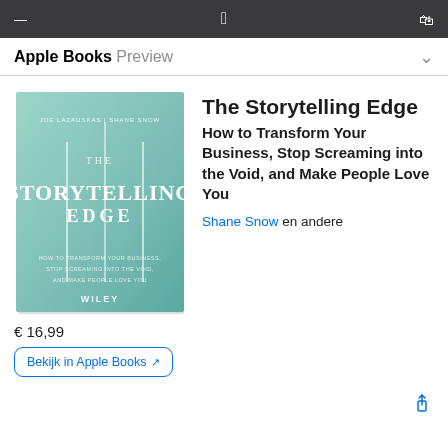Apple Books Preview
[Figure (photo): Book cover of 'The Storytelling Edge' by Shane Snow, published by Wiley. Light teal/mint gradient cover with white vertical lines and bold white text.]
The Storytelling Edge
How to Transform Your Business, Stop Screaming into the Void, and Make People Love You
Shane Snow en andere
€ 16,99
Bekijk in Apple Books ↗